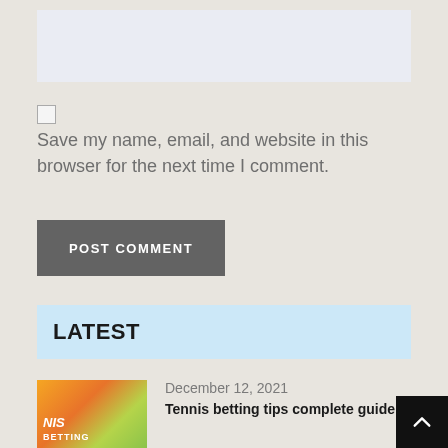[Figure (other): Light blue-gray textarea input box]
Save my name, email, and website in this browser for the next time I comment.
POST COMMENT
LATEST
[Figure (photo): Tennis betting tips article thumbnail showing tennis balls and court with text INIS BETTING]
December 12, 2021
Tennis betting tips complete guide